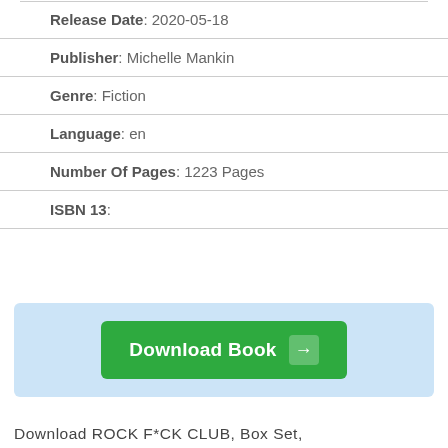Release Date : 2020-05-18
Publisher : Michelle Mankin
Genre : Fiction
Language : en
Number Of Pages : 1223 Pages
ISBN 13 :
[Figure (other): Green download button with arrow icon on light blue background, labeled 'Download Book']
Download ROCK F*CK CLUB, Box Set,